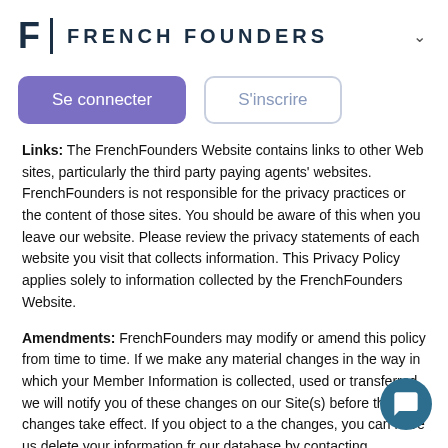FRENCH FOUNDERS
Se connecter | S'inscrire
Links: The FrenchFounders Website contains links to other Web sites, particularly the third party paying agents' websites. FrenchFounders is not responsible for the privacy practices or the content of those sites. You should be aware of this when you leave our website. Please review the privacy statements of each website you visit that collects information. This Privacy Policy applies solely to information collected by the FrenchFounders Website.
Amendments: FrenchFounders may modify or amend this policy from time to time. If we make any material changes in the way in which your Member Information is collected, used or transferred, we will notify you of these changes on our Site(s) before the changes take effect. If you object to a the changes, you can have us delete your information fr our database by contacting dpo@frenchfounders.com. As